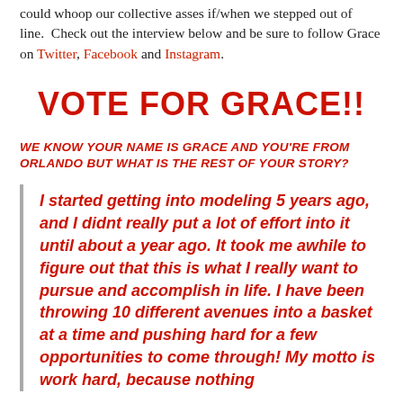could whoop our collective asses if/when we stepped out of line.  Check out the interview below and be sure to follow Grace on Twitter, Facebook and Instagram.
VOTE FOR GRACE!!
WE KNOW YOUR NAME IS GRACE AND YOU'RE FROM ORLANDO BUT WHAT IS THE REST OF YOUR STORY?
I started getting into modeling 5 years ago, and I didnt really put a lot of effort into it until about a year ago. It took me awhile to figure out that this is what I really want to pursue and accomplish in life. I have been throwing 10 different avenues into a basket at a time and pushing hard for a few opportunities to come through! My motto is work hard, because nothing